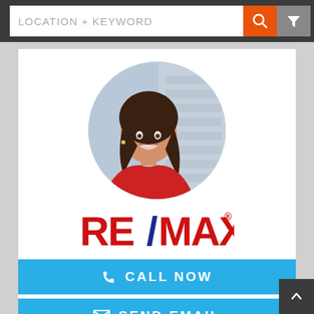LOCATION + KEYWORD
[Figure (photo): Circular profile photo of a smiling woman with dark hair wearing a red sleeveless top, leaning against a brick wall background]
[Figure (logo): RE/MAX logo in red and blue text with trademark symbol]
CALL NOW
SEND EMAIL